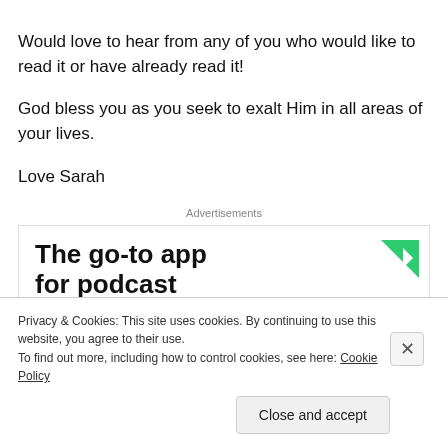Would love to hear from any of you who would like to read it or have already read it!
God bless you as you seek to exalt Him in all areas of your lives.
Love Sarah
Advertisements
[Figure (other): Advertisement banner: 'The go-to app for podcast' with green arrow graphic]
Privacy & Cookies: This site uses cookies. By continuing to use this website, you agree to their use.
To find out more, including how to control cookies, see here: Cookie Policy
Close and accept